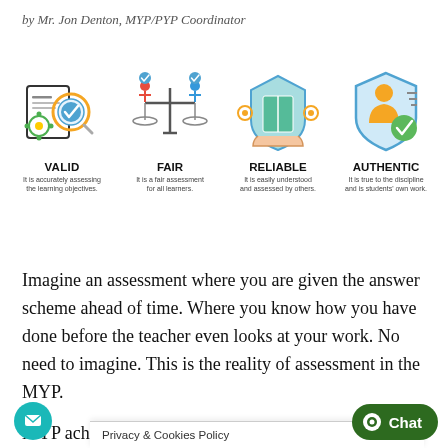by Mr. Jon Denton, MYP/PYP Coordinator
[Figure (infographic): Four icons representing assessment qualities: VALID (accurately assessing learning objectives), FAIR (fair assessment for all learners), RELIABLE (easily understood and assessed by others), AUTHENTIC (true to the discipline and students' own work).]
Imagine an assessment where you are given the answer scheme ahead of time. Where you know how you have done before the teacher even looks at your work. No need to imagine. This is the reality of assessment in the MYP.
MYP achievement lev... of